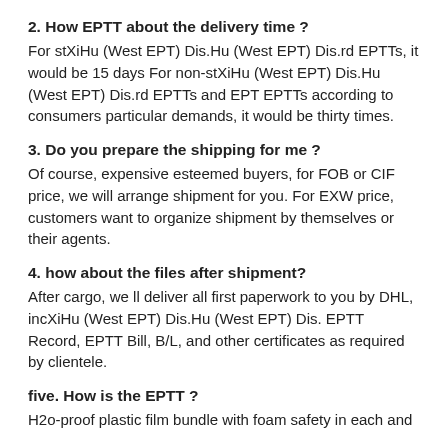2. How EPTT about the delivery time ?
For stXiHu (West EPT) Dis.Hu (West EPT) Dis.rd EPTTs, it would be 15 days For non-stXiHu (West EPT) Dis.Hu (West EPT) Dis.rd EPTTs and EPT EPTTs according to consumers particular demands, it would be thirty times.
3. Do you prepare the shipping for me ?
Of course, expensive esteemed buyers, for FOB or CIF price, we will arrange shipment for you. For EXW price, customers want to organize shipment by themselves or their agents.
4. how about the files after shipment?
After cargo, we ll deliver all first paperwork to you by DHL, incXiHu (West EPT) Dis.Hu (West EPT) Dis. EPTT Record, EPTT Bill, B/L, and other certificates as required by clientele.
five. How is the EPTT ?
H2o-proof plastic film bundle with foam safety in each and